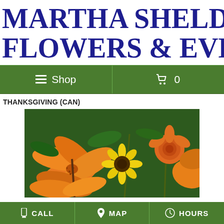MARTHA SHELDON FLOWERS & EVENTS
≡ Shop   🛒 0
THANKSGIVING (CAN)
[Figure (photo): Floral arrangement with orange lilies, orange roses, and a yellow sunflower for Thanksgiving (Canadian)]
CALL   MAP   HOURS